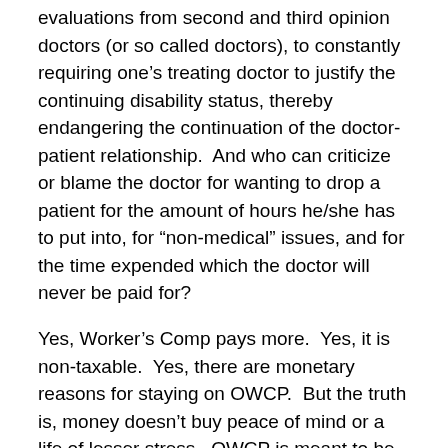evaluations from second and third opinion doctors (or so called doctors), to constantly requiring one's treating doctor to justify the continuing disability status, thereby endangering the continuation of the doctor-patient relationship.  And who can criticize or blame the doctor for wanting to drop a patient for the amount of hours he/she has to put into, for “non-medical” issues, and for the time expended which the doctor will never be paid for?
Yes, Worker’s Comp pays more.  Yes, it is non-taxable.  Yes, there are monetary reasons for staying on OWCP.  But the truth is, money doesn’t buy peace of mind or a life of lesser stress.  OWCP is meant to be a temporary means of providing income — it is not designed for the long term, and indeed, the Office of Worker’s Compensation makes that abundantly clear by their actions.  OPM Disability retirement under FERS or CSRS